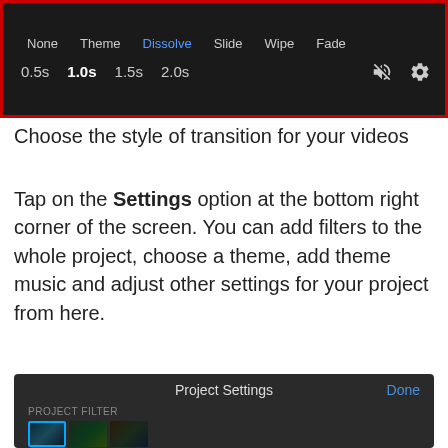[Figure (screenshot): Mobile video editor interface showing transition options (None, Theme, Dissolve, Slide, Wipe, Fade) and duration options (0.5s, 1.0s selected in bold, 1.5s, 2.0s) with mute and settings icons, red border highlight]
Choose the style of transition for your videos
Tap on the Settings option at the bottom right corner of the screen. You can add filters to the whole project, choose a theme, add theme music and adjust other settings for your project from here.
[Figure (screenshot): Project Settings screen showing header with 'Project Settings' title and 'Done' button in blue, PROJECT FILTER label, and video filter thumbnails below]